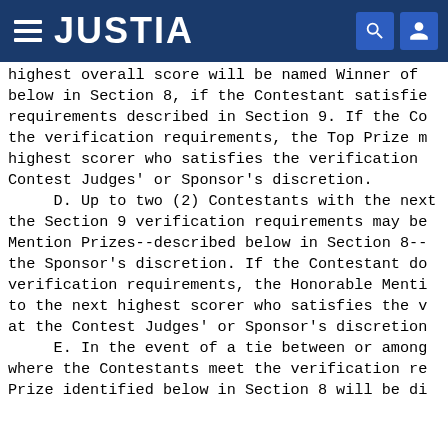JUSTIA
highest overall score will be named Winner of below in Section 8, if the Contestant satisfie requirements described in Section 9. If the Co the verification requirements, the Top Prize m highest scorer who satisfies the verification Contest Judges' or Sponsor's discretion. D. Up to two (2) Contestants with the next the Section 9 verification requirements may be Mention Prizes--described below in Section 8-- the Sponsor's discretion. If the Contestant do verification requirements, the Honorable Menti to the next highest scorer who satisfies the v at the Contest Judges' or Sponsor's discretion E. In the event of a tie between or among where the Contestants meet the verification re Prize identified below in Section 8 will be di